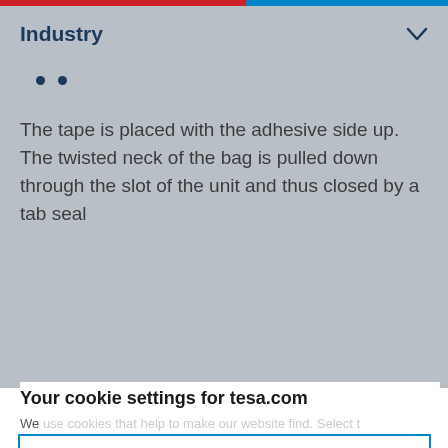Industry
The tape is placed with the adhesive side up. The twisted neck of the bag is pulled down through the slot of the unit and thus closed by a tab seal
Your cookie settings for tesa.com
We use cookies that help to make our website function. Select to
DECLINE
ACCEPT
Change settings